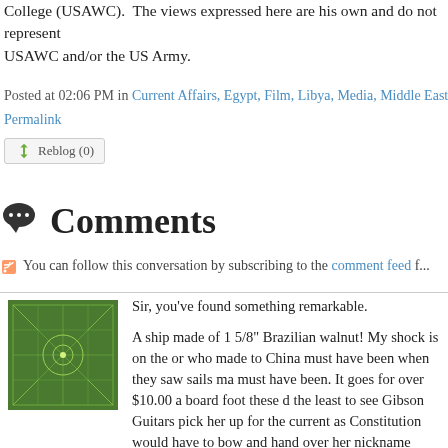College (USAWC). The views expressed here are his own and do not represent USAWC and/or the US Army.
Posted at 02:06 PM in Current Affairs, Egypt, Film, Libya, Media, Middle East, | Permalink
Comments
You can follow this conversation by subscribing to the comment feed f...
Sir, you've found something remarkable.

A ship made of 1 5/8" Brazilian walnut! My shock is on the order who made to China must have been when they saw sails ma... must have been. It goes for over $10.00 a board foot these d... the least to see Gibson Guitars pick her up for the current as... Constitution would have to bow and hand over her nickname... baby. One of a kind? No exaggeration.

Classy looking sweetheart, but I'm afraid the price reduction i...